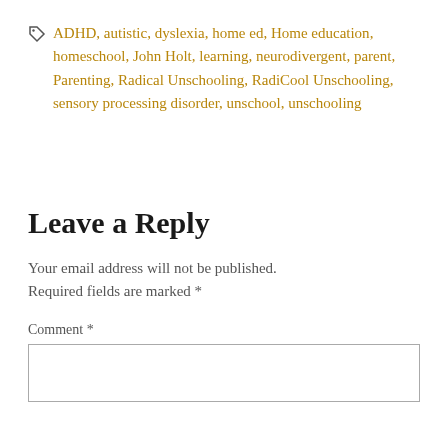ADHD, autistic, dyslexia, home ed, Home education, homeschool, John Holt, learning, neurodivergent, parent, Parenting, Radical Unschooling, RadiCool Unschooling, sensory processing disorder, unschool, unschooling
Leave a Reply
Your email address will not be published. Required fields are marked *
Comment *